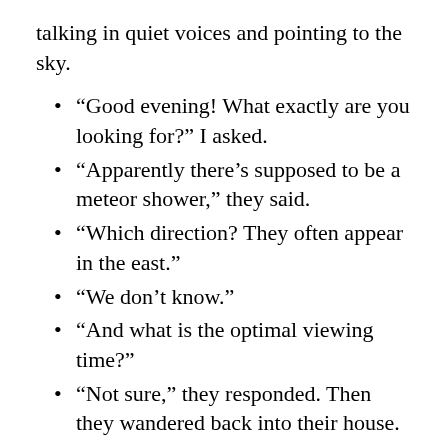talking in quiet voices and pointing to the sky.
“Good evening! What exactly are you looking for?” I asked.
“Apparently there’s supposed to be a meteor shower,” they said.
“Which direction? They often appear in the east.”
“We don’t know.”
“And what is the optimal viewing time?”
“Not sure,” they responded. Then they wandered back into their house.
Another problem, in addition to not knowing the time or where to look, was the